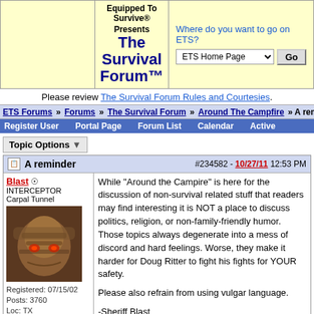Equipped To Survive® Presents The Survival Forum™ — Where do you want to go on ETS? ETS Home Page [dropdown] Go
Please review The Survival Forum Rules and Courtesies.
ETS Forums » Forums » The Survival Forum » Around The Campfire » A rem
Register User   Portal Page   Forum List   Calendar   Active
Topic Options ▼
A reminder  #234582 - 10/27/11 12:53 PM
Blast ☺
INTERCEPTOR
Carpal Tunnel
Registered: 07/15/02
Posts: 3760
Loc: TX
While "Around the Campire" is here for the discussion of non-survival related stuff that readers may find interesting it is NOT a place to discuss politics, religion, or non-family-friendly humor. Those topics always degenerate into a mess of discord and hard feelings. Worse, they make it harder for Doug Ritter to fight his fights for YOUR safety.

Please also refrain from using vulgar language.

-Sheriff Blast
Foraging Texas